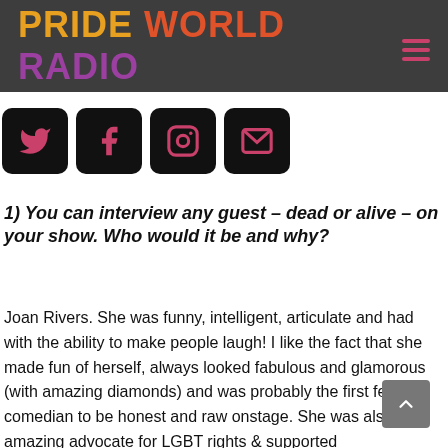PRIDE WORLD RADIO
[Figure (other): Social media icons row: Twitter, Facebook, Instagram, Email — dark square buttons with pink icons]
1) You can interview any guest – dead or alive – on your show. Who would it be and why?
Joan Rivers. She was funny, intelligent, articulate and had with the ability to make people laugh! I like the fact that she made fun of herself, always looked fabulous and glamorous (with amazing diamonds) and was probably the first female comedian to be honest and raw onstage. She was also an amazing advocate for LGBT rights & supported